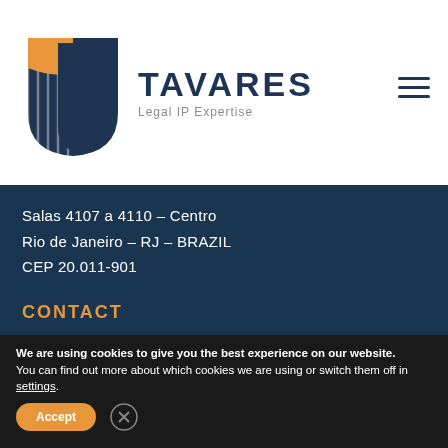[Figure (logo): Tavares Legal IP Expertise logo with geometric shield icon in dark navy and orange/gold, with company name and tagline]
Salas 4107 a 4110 – Centro
Rio de Janeiro – RJ – BRAZIL
CEP 20.011-901
CONTACT
info@tavaresoffice.com.br
+55 21 2216.6350
We are using cookies to give you the best experience on our website.
You can find out more about which cookies we are using or switch them off in settings.